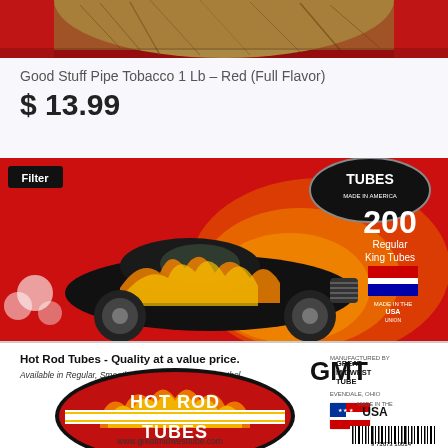[Figure (photo): Top portion of Good Stuff Pipe Tobacco 1 Lb Red (Full Flavor) product, showing tobacco leaves on red background]
Good Stuff Pipe Tobacco 1 Lb – Red (Full Flavor)
$ 13.99
[Figure (photo): Hot Rod Tubes cigarette tubes product box. Red and black design featuring a hot rod car with flames. Text: Filter, TUBES MADE IN AMERICA, 200 Regular King Tubes, MADE IN THE USA UNION. Bottom white panel: Hot Rod Tubes - Quality at a value price. Available in Regular, Smooth, Menthol, and Super Menthol. Manufactured by GMT Great Midwest Tube, Evendale, Ohio. Hot Rod Tubes logo oval. www.greatmidwesttube.com. MADE IN THE USA flag logo. Barcode.]